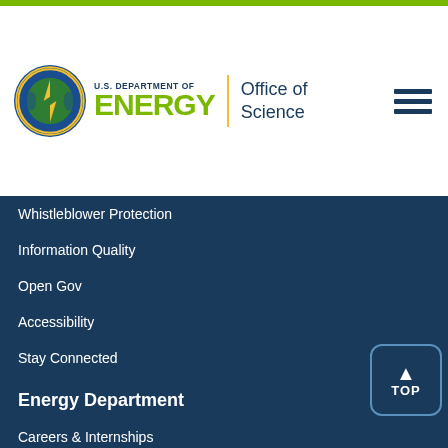U.S. Department of Energy | Office of Science
Whistleblower Protection
Information Quality
Open Gov
Accessibility
Stay Connected
Energy Department
Careers & Internships
Budget & Performance
Directives, Delegations & Requirements
FOIA